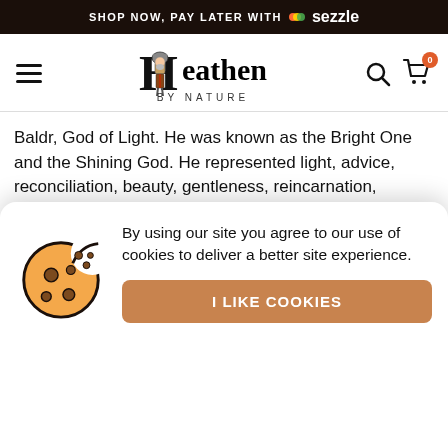SHOP NOW, PAY LATER WITH Sezzle
[Figure (logo): Heathen By Nature logo with viking warrior inside letter H]
Baldr, God of Light. He was known as the Bright One and the Shining God. He represented light, advice, reconciliation, beauty, gentleness, reincarnation, wisdom, harmony and happiness. He was favorite amongst all the Gods.
Hodr, the Blind God. He was a great warrior and immensely strong. Sadly, Hodur was blind to the charms of others, and was m a d c t
T m
avenge Hodur. Within a day of his birth, he grew into a great
[Figure (other): Cookie consent popup with cookie icon illustration. Text: By using our site you agree to our use of cookies to deliver a better site experience. Button: I LIKE COOKIES]